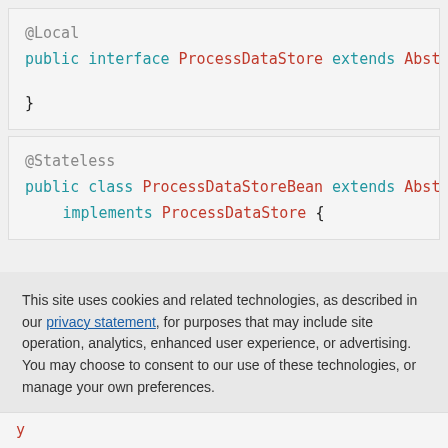@Local
public interface ProcessDataStore extends Abstrac
}
@Stateless
public class ProcessDataStoreBean extends Abstrac
        implements ProcessDataStore {
This site uses cookies and related technologies, as described in our privacy statement, for purposes that may include site operation, analytics, enhanced user experience, or advertising. You may choose to consent to our use of these technologies, or manage your own preferences.
Accept Cookies
More Information
Privacy Policy | Powered by: TrustArc